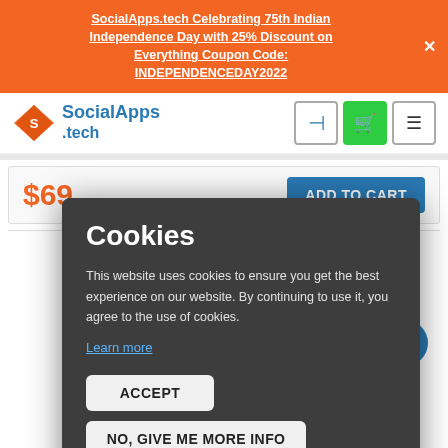SocialApps.tech Celebrating 75th Indian Independence Day with 25% Discount on Everything Coupon Code: INDEPENDENCEDAY2022
[Figure (logo): SocialApps.tech logo with orange diamond shape and blue text]
$69
ADD TO CART
Cookies
This website uses cookies to ensure you get the best experience on our website. By continuing to use it, you agree to the use of cookies.
Learn more
ACCEPT
NO, GIVE ME MORE INFO